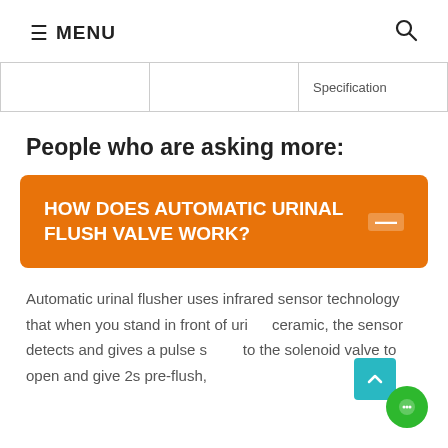≡ MENU
|  |  | Specification |
People who are asking more:
HOW DOES AUTOMATIC URINAL FLUSH VALVE WORK?
Automatic urinal flusher uses infrared sensor technology that when you stand in front of urinal ceramic, the sensor detects and gives a pulse signal to the solenoid valve to open and give 2s pre-flush,